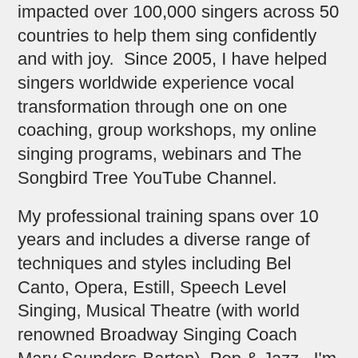impacted over 100,000 singers across 50 countries to help them sing confidently and with joy. Since 2005, I have helped singers worldwide experience vocal transformation through one on one coaching, group workshops, my online singing programs, webinars and The Songbird Tree YouTube Channel.
My professional training spans over 10 years and includes a diverse range of techniques and styles including Bel Canto, Opera, Estill, Speech Level Singing, Musical Theatre (with world renowned Broadway Singing Coach Mary Saunders-Barton), Pop & Jazz. I'm also a dynamic choir conductor and vocal director and perform regularly as a professional singer – enjoying belting out a Broadway and Disney tune or two!
I created this program because I personally had the same problems with cracking, flipping & straining when I was a